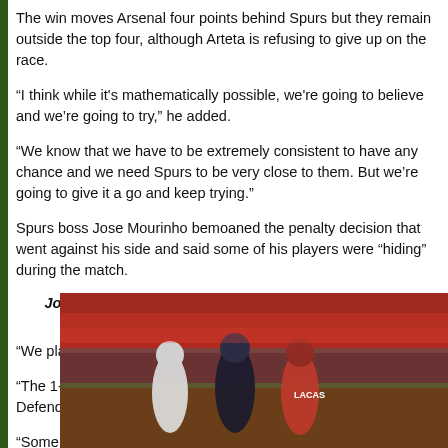The win moves Arsenal four points behind Spurs but they remain outside the top four, although Arteta is refusing to give up on the race.
“I think while it's mathematically possible, we're going to believe and we're going to try,” he added.
“We know that we have to be extremely consistent to have any chance and we need Spurs to be very close to them. But we're going to give it a go and keep trying.”
Spurs boss Jose Mourinho bemoaned the penalty decision that went against his side and said some of his players were “hiding” during the match.
Jose Mourinho accused some of Tottenham players of “hid…
“We played really bad in the first half,” he told Sky Sports.
“The 1-1 was not a fair reflection of the first half. We were poor. Defend…
“Some important players hiding. Really bad. In the second half we only…
The Portuguese then questioned his record in matches refereed by Mic… spot after adjudging that Lacazette had been fouled by Davinson Sanch…
[Figure (photo): Football players from Arsenal and Tottenham in action on the pitch, with stadium seating visible in the background]